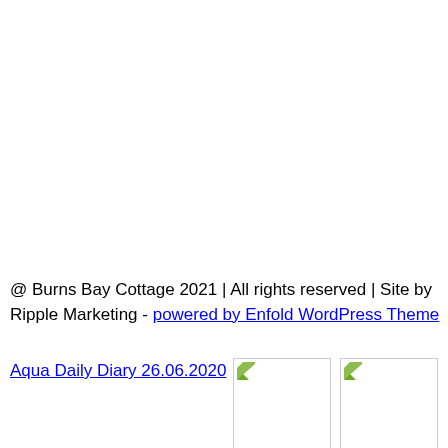@ Burns Bay Cottage 2021 | All rights reserved | Site by Ripple Marketing - powered by Enfold WordPress Theme
Aqua Daily Diary 26.06.2020   Crimson Daily Diary 29.6.20
Scroll to top